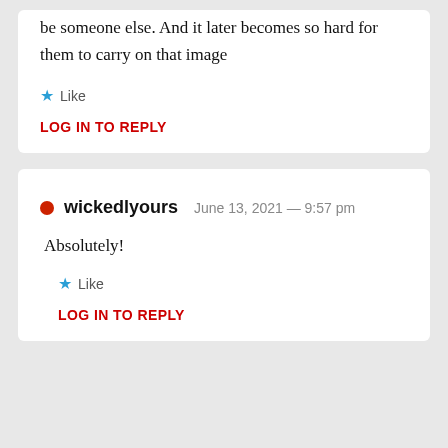be someone else. And it later becomes so hard for them to carry on that image
Like
LOG IN TO REPLY
wickedlyours June 13, 2021 — 9:57 pm
Absolutely!
Like
LOG IN TO REPLY